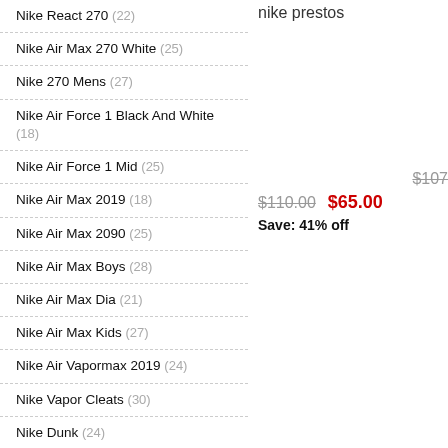Nike React 270 (22)
Nike Air Max 270 White (25)
Nike 270 Mens (27)
Nike Air Force 1 Black And White (18)
Nike Air Force 1 Mid (25)
Nike Air Max 2019 (18)
Nike Air Max 2090 (25)
Nike Air Max Boys (28)
Nike Air Max Dia (21)
Nike Air Max Kids (27)
Nike Air Vapormax 2019 (24)
Nike Vapor Cleats (30)
Nike Dunk (24)
Nike Odyssey React Flyknit 2 (19)
Nike Flyknit Racer (22)
nike prestos
$110.00  $65.00  Save: 41% off